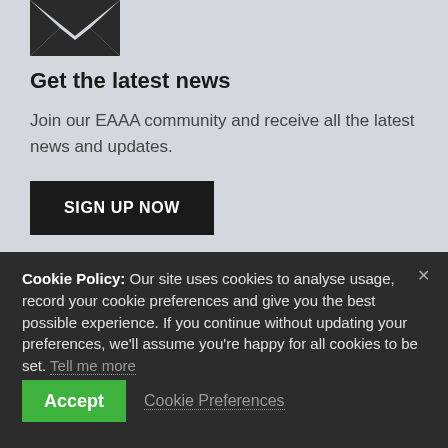[Figure (illustration): Envelope icon with arrow pointing up, dark chevron/envelope graphic on light grey background]
Get the latest news
Join our EAAA community and receive all the latest news and updates.
SIGN UP NOW
Cookie Policy: Our site uses cookies to analyse usage, record your cookie preferences and give you the best possible experience. If you continue without updating your preferences, we'll assume you're happy for all cookies to be set. Tell me more
Accept
Cookie Preferences